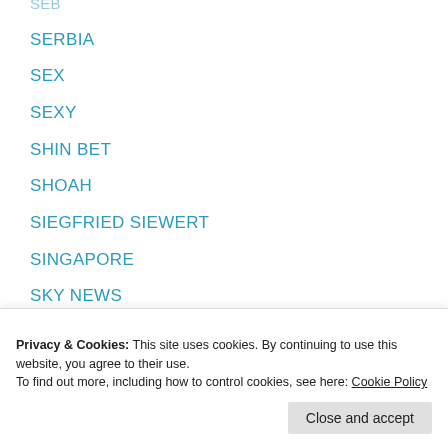SEB
SERBIA
SEX
SEXY
SHIN BET
SHOAH
SIEGFRIED SIEWERT
SINGAPORE
SKY NEWS
SLOVAKIA
SOUTH AFRICA
Privacy & Cookies: This site uses cookies. By continuing to use this website, you agree to their use. To find out more, including how to control cookies, see here: Cookie Policy